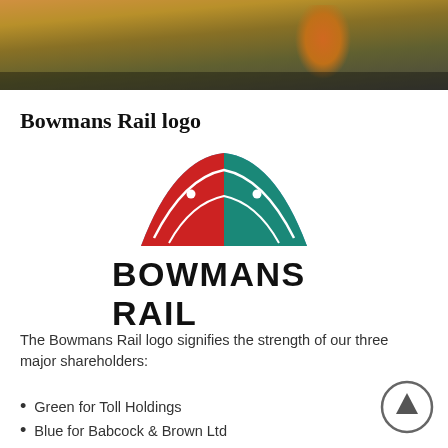[Figure (photo): Photo strip showing a person in an orange high-visibility vest near railway tracks in a dry grassland setting]
Bowmans Rail logo
[Figure (logo): Bowmans Rail logo: a fan/arc shape divided into red (left), blue (top), and teal/green (right) segments with white curved lines and dots, above the text BOWMANS RAIL in bold black capitals]
The Bowmans Rail logo signifies the strength of our three major shareholders:
Green for Toll Holdings
Blue for Babcock & Brown Ltd